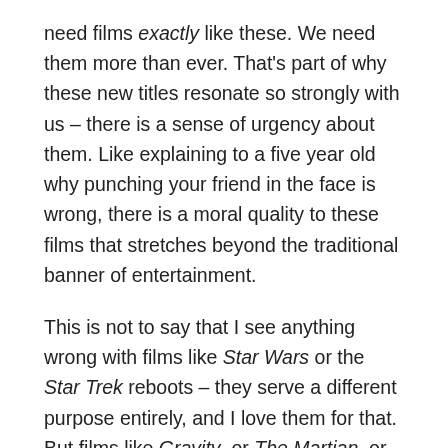need films exactly like these. We need them more than ever. That's part of why these new titles resonate so strongly with us – there is a sense of urgency about them. Like explaining to a five year old why punching your friend in the face is wrong, there is a moral quality to these films that stretches beyond the traditional banner of entertainment.
This is not to say that I see anything wrong with films like Star Wars or the Star Trek reboots – they serve a different purpose entirely, and I love them for that. But films like Gravity, or The Martian, or Interstellar, or the previous generation of hard boiled sci fi – such as Solaris, 2001, and The Andromeda Strain, are absolutely vital to our society and its future. They blur the lines of the real and the possible, and ask complex questions about science,